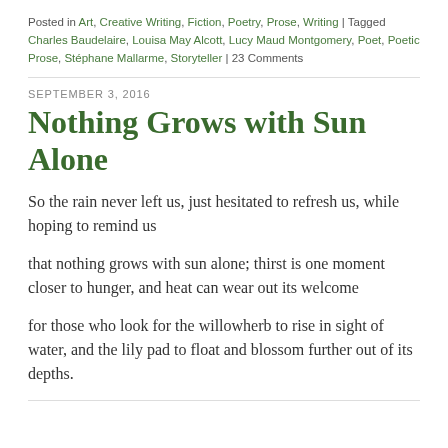Posted in Art, Creative Writing, Fiction, Poetry, Prose, Writing | Tagged Charles Baudelaire, Louisa May Alcott, Lucy Maud Montgomery, Poet, Poetic Prose, Stéphane Mallarme, Storyteller | 23 Comments
SEPTEMBER 3, 2016
Nothing Grows with Sun Alone
So the rain never left us, just hesitated to refresh us, while hoping to remind us
that nothing grows with sun alone; thirst is one moment closer to hunger, and heat can wear out its welcome
for those who look for the willowherb to rise in sight of water, and the lily pad to float and blossom further out of its depths.